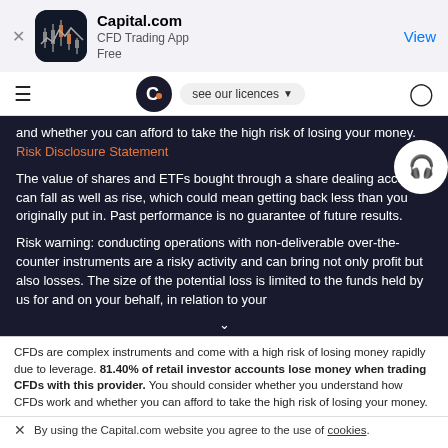[Figure (screenshot): App Store banner for Capital.com CFD Trading App showing app icon, name, subtitle 'CFD Trading App', 'Free', and 'View' button]
Capital.com | CFD Trading App | Free | View
and whether you can afford to take the high risk of losing your money. Risk Disclosure Statement
The value of shares and ETFs bought through a share dealing account can fall as well as rise, which could mean getting back less than you originally put in. Past performance is no guarantee of future results.
Risk warning: conducting operations with non-deliverable over-the-counter instruments are a risky activity and can bring not only profit but also losses. The size of the potential loss is limited to the funds held by us for and on your behalf, in relation to your
CFDs are complex instruments and come with a high risk of losing money rapidly due to leverage. 81.40% of retail investor accounts lose money when trading CFDs with this provider. You should consider whether you understand how CFDs work and whether you can afford to take the high risk of losing your money.
By using the Capital.com website you agree to the use of cookies.